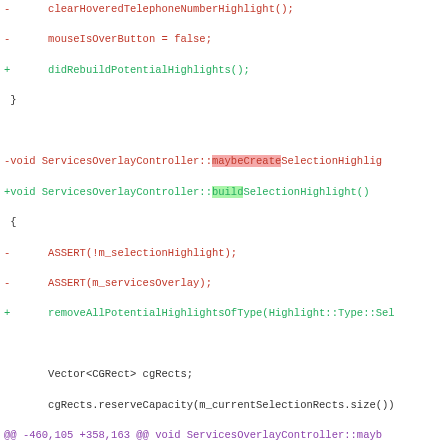[Figure (screenshot): Code diff view showing changes to ServicesOverlayController source file with removed lines in red and added lines in green, including a hunk header in purple]